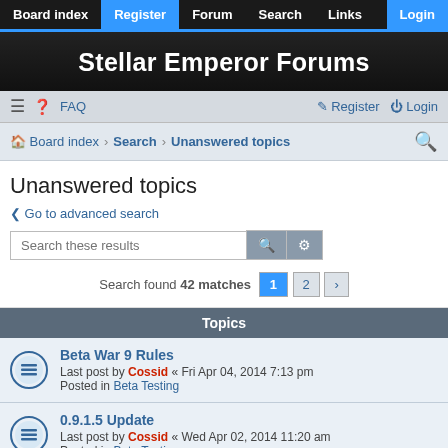Board index | Register | Forum | Search | Links | Login
Stellar Emperor Forums
≡ ❓ FAQ    Register  Login
Board index › Search › Unanswered topics
Unanswered topics
< Go to advanced search
Search these results  [search] [settings]
Search found 42 matches  1  2  >
Topics
Beta War 9 Rules
Last post by Cossid « Fri Apr 04, 2014 7:13 pm
Posted in Beta Testing
0.9.1.5 Update
Last post by Cossid « Wed Apr 02, 2014 11:20 am
Posted in Beta Testing
0.9.1.4 Update
Last post by Cossid « Thu Mar 27, 2014 8:00 pm
Posted in Beta Testing